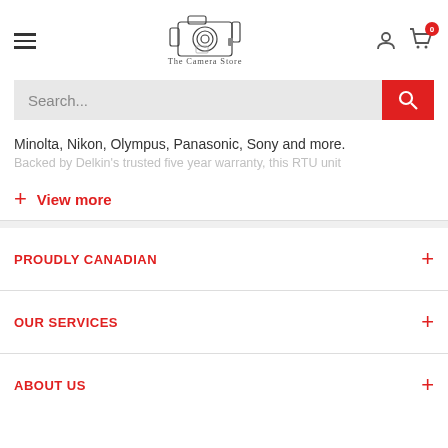[Figure (logo): The Camera Store logo with camera illustration and tagline 'Get the picture']
Search...
Minolta, Nikon, Olympus, Panasonic, Sony and more.
Backed by Delkin's trusted five year warranty, this RTU unit
+ View more
PROUDLY CANADIAN
OUR SERVICES
ABOUT US